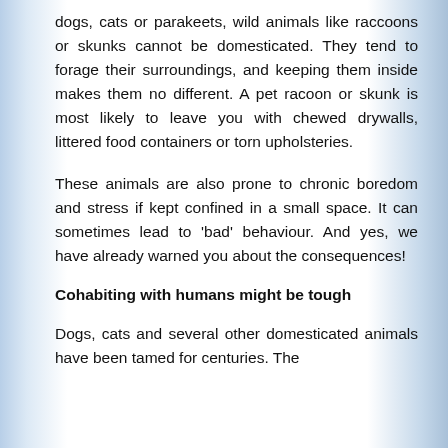dogs, cats or parakeets, wild animals like raccoons or skunks cannot be domesticated. They tend to forage their surroundings, and keeping them inside makes them no different. A pet racoon or skunk is most likely to leave you with chewed drywalls, littered food containers or torn upholsteries.
These animals are also prone to chronic boredom and stress if kept confined in a small space. It can sometimes lead to 'bad' behaviour. And yes, we have already warned you about the consequences!
Cohabiting with humans might be tough
Dogs, cats and several other domesticated animals have been tamed for centuries. The